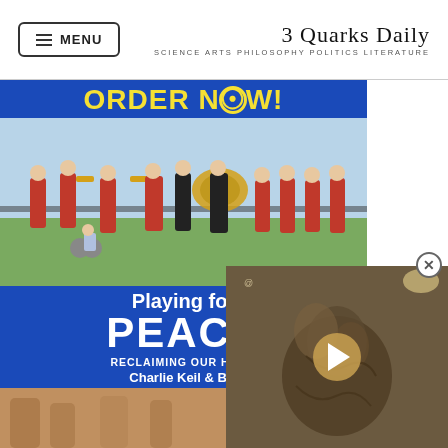MENU | 3 Quarks Daily — SCIENCE ARTS PHILOSOPHY POLITICS LITERATURE
[Figure (photo): Book cover advertisement for 'Playing for PEACE: Reclaiming our Humanity' by Charlie Keil & Bill, showing a marching band in red outfits playing instruments along a waterfront, with blue background and yellow 'ORDER NOW!' text at top]
[Figure (photo): Video overlay thumbnail showing a dark sepia-toned image with a play button, appearing to show an animal or creature figure]